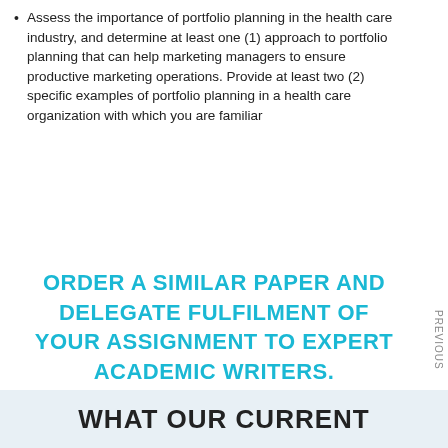Assess the importance of portfolio planning in the health care industry, and determine at least one (1) approach to portfolio planning that can help marketing managers to ensure productive marketing operations. Provide at least two (2) specific examples of portfolio planning in a health care organization with which you are familiar
ORDER A SIMILAR PAPER AND DELEGATE FULFILMENT OF YOUR ASSIGNMENT TO EXPERT ACADEMIC WRITERS. PLAGIARISM-FREE, GUARANTEED A, TIMELY DELIVERY.
PREVIOUS
WHAT OUR CURRENT